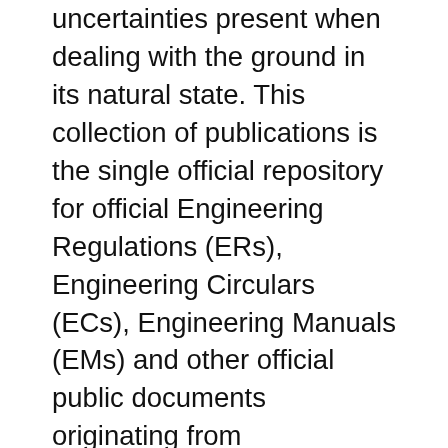uncertainties present when dealing with the ground in its natural state. This collection of publications is the single official repository for official Engineering Regulations (ERs), Engineering Circulars (ECs), Engineering Manuals (EMs) and other official public documents originating from Headquarters U.S. Army Corps of Engineers
Part of the ICE manuals series, ICE manual of geotechnical engineering is the definitive geotechnical reference, providing best practice knowledge for civil and structural engineers.Written and edited by leaders in their fields, ICE manual of geotechnical engineering delivers the core geotechnical engineering principles, practical techniques, and the major